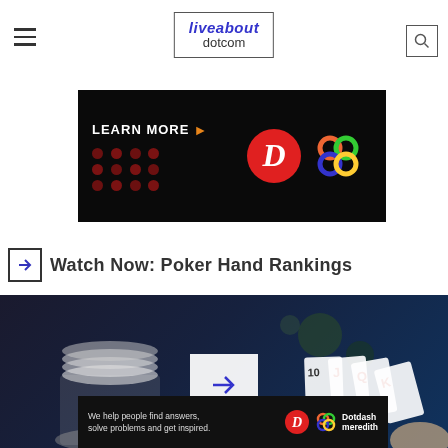liveabout dotcom
[Figure (screenshot): Advertisement banner with black background showing 'LEARN MORE' text with arrow, dark red dot pattern on left, red circle with letter D logo and colorful knot logo on right]
Watch Now: Poker Hand Rankings
[Figure (photo): Video thumbnail showing poker chips stacked and playing cards (J, Q, K, A) being held, dark background with bokeh lights, white play button overlay in center]
[Figure (screenshot): Bottom advertisement with dark background showing 'We help people find answers, solve problems and get inspired.' with Dotdash Meredith logos]